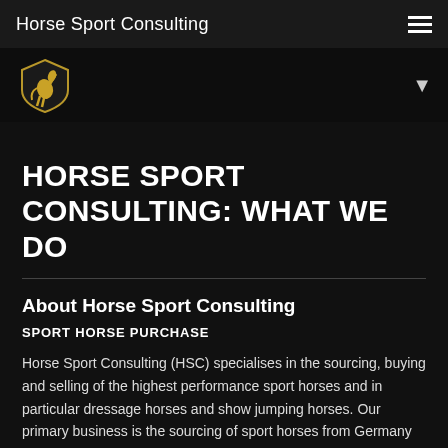Horse Sport Consulting
[Figure (logo): Horse Sport Consulting shield logo with golden rearing horse on black background]
HORSE SPORT CONSULTING: WHAT WE DO
About Horse Sport Consulting
SPORT HORSE PURCHASE
Horse Sport Consulting (HSC) specialises in the sourcing, buying and selling of the highest performance sport horses and in particular dressage horses and show jumping horses. Our primary business is the sourcing of sport horses from Germany and neighboring countries. We are 100% independent, we are not tied to any breeders, dealers or producers, our primary objective is to find the best sport horses for our clients.